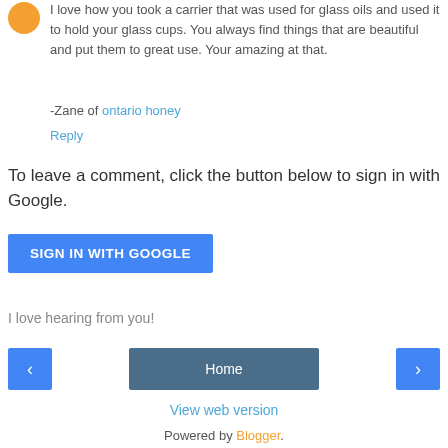I love how you took a carrier that was used for glass oils and used it to hold your glass cups. You always find things that are beautiful and put them to great use. Your amazing at that.
-Zane of ontario honey
Reply
To leave a comment, click the button below to sign in with Google.
SIGN IN WITH GOOGLE
I love hearing from you!
< Home >
View web version
Powered by Blogger.